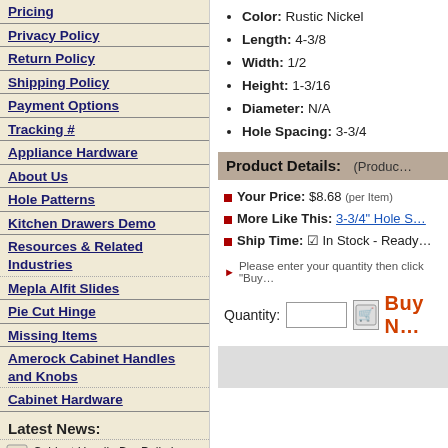Pricing
Privacy Policy
Return Policy
Shipping Policy
Payment Options
Tracking #
Appliance Hardware
About Us
Hole Patterns
Kitchen Drawers Demo
Resources & Related Industries
Mepla Alfit Slides
Pie Cut Hinge
Missing Items
Amerock Cabinet Handles and Knobs
Cabinet Hardware
Latest News:
Cabinet Handle Bar Pulls In Many Sizes
August 12th, 2016
Color: Rustic Nickel
Length: 4-3/8
Width: 1/2
Height: 1-3/16
Diameter: N/A
Hole Spacing: 3-3/4
Product Details:  (Produc…
Your Price: $8.68 (per Item)
More Like This: 3-3/4" Hole S…
Ship Time: ☑ In Stock - Ready…
Please enter your quantity then click "Buy…
Quantity:  [input]  [cart]  Buy N…